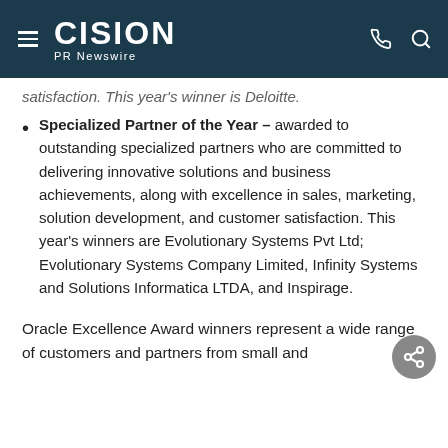CISION PR Newswire
satisfaction. This year's winner is Deloitte.
Specialized Partner of the Year – awarded to outstanding specialized partners who are committed to delivering innovative solutions and business achievements, along with excellence in sales, marketing, solution development, and customer satisfaction. This year's winners are Evolutionary Systems Pvt Ltd; Evolutionary Systems Company Limited, Infinity Systems and Solutions Informatica LTDA, and Inspirage.
Oracle Excellence Award winners represent a wide range of customers and partners from small and